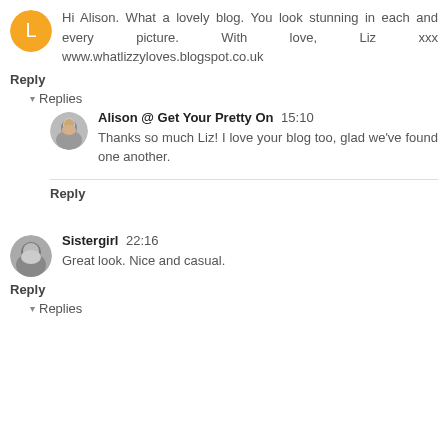Hi Alison. What a lovely blog. You look stunning in each and every picture. With love, Liz xxx www.whatlizzyloves.blogspot.co.uk
Reply
▾ Replies
Alison @ Get Your Pretty On 15:10
Thanks so much Liz! I love your blog too, glad we've found one another.
Reply
Sistergirl 22:16
Great look. Nice and casual.
Reply
▾ Replies